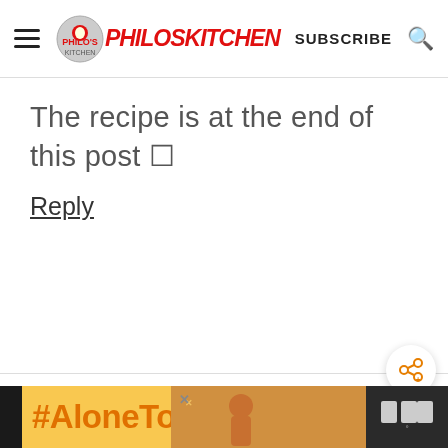PHILOS KITCHEN | SUBSCRIBE
The recipe is at the end of this post 🍴
Reply
Val Di Girolami sa
June 26, 2017 at 7:06 am
[Figure (screenshot): WHAT'S NEXT section showing HOMEMADE SUN-DRIED... with a food image]
[Figure (infographic): #AloneTogether advertisement banner with yellow/orange background, photo of woman and W logo]